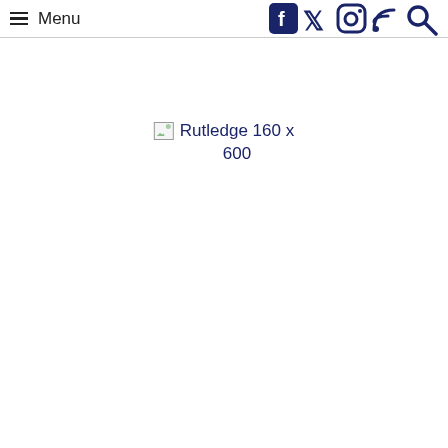Menu | [social icons: Facebook, Twitter, Instagram, RSS, Search]
[Figure (other): Broken image placeholder with alt text 'Rutledge 160 x 600']